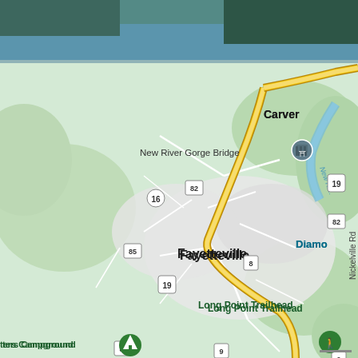[Figure (map): Google Maps screenshot showing Fayetteville, West Virginia area with New River Gorge Bridge to the northeast, Carver, Long Point Trailhead, Walmart Supercenter, and various route markers (8, 9, 16, 19, 82, 85). US-19 runs diagonally through the map. A water body (New River) is visible in the upper portion. The map shows a campground icon labeled 'ters Campground', a green hiking icon for Long Point Trailhead, a blue shopping icon for Walmart Supercenter, and a castle icon for New River Gorge Bridge. An accessibility icon appears in the lower left. Nickelville Rd is labeled on the right side.]